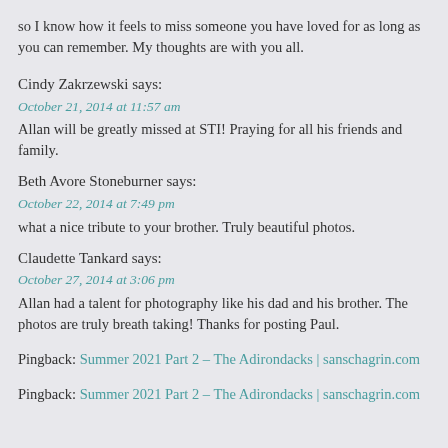so I know how it feels to miss someone you have loved for as long as you can remember. My thoughts are with you all.
Cindy Zakrzewski says:
October 21, 2014 at 11:57 am
Allan will be greatly missed at STI! Praying for all his friends and family.
Beth Avore Stoneburner says:
October 22, 2014 at 7:49 pm
what a nice tribute to your brother. Truly beautiful photos.
Claudette Tankard says:
October 27, 2014 at 3:06 pm
Allan had a talent for photography like his dad and his brother. The photos are truly breath taking! Thanks for posting Paul.
Pingback: Summer 2021 Part 2 – The Adirondacks | sanschagrin.com
Pingback: Summer 2021 Part 2 – The Adirondacks | sanschagrin.com